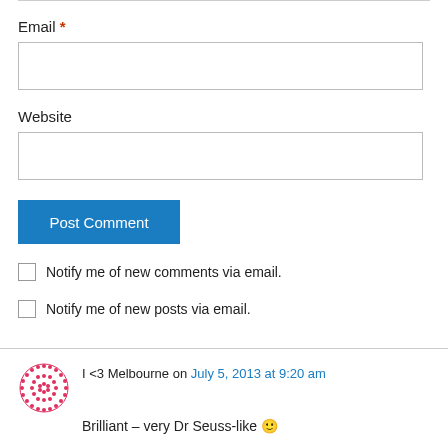Email *
Website
Post Comment
Notify me of new comments via email.
Notify me of new posts via email.
I <3 Melbourne on July 5, 2013 at 9:20 am
Brilliant – very Dr Seuss-like 🙂